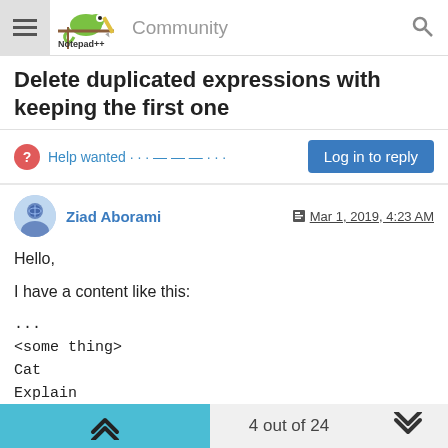Notepad++ Community
Delete duplicated expressions with keeping the first one
Help wanted · · · — — — · · ·
Log in to reply
Ziad Aborami   Mar 1, 2019, 4:23 AM
Hello,

I have a content like this:
...
<some thing>
Cat
Explain
<some thing>
Dog
Another explain
<some thing>
4 out of 24